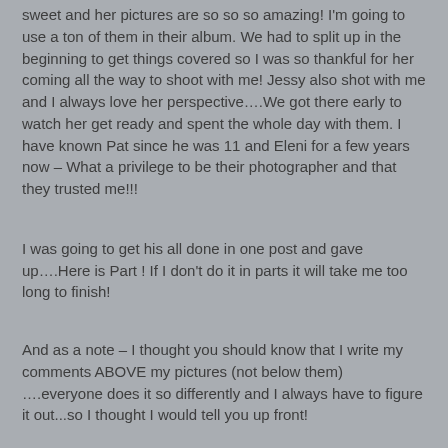sweet and her pictures are so so so amazing!  I'm going to use a ton of them in their album.  We had to split up in the beginning to get things covered so I was so thankful for her coming all the way to shoot with me!  Jessy also shot with me and I always love her perspective….We got there early to watch her get ready and spent the whole day with them.  I have known Pat since he was 11 and Eleni for a few years now – What a privilege to be their photographer and that they trusted me!!!
I was going to get his all done in one post and gave up….Here is Part !  If I don't do it in parts it will take me too long to finish!
And as a note – I thought you should know that I write my comments ABOVE my pictures (not below them) ….everyone does it so differently and I always have to figure it out...so I thought I would tell you up front!